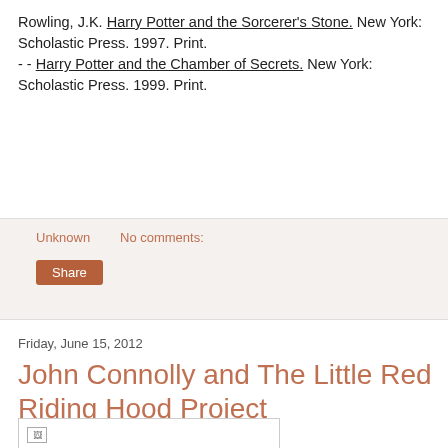Rowling, J.K. Harry Potter and the Sorcerer's Stone. New York: Scholastic Press. 1997. Print.
- - Harry Potter and the Chamber of Secrets. New York: Scholastic Press. 1999. Print.
Unknown
No comments:
Share
Friday, June 15, 2012
John Connolly and The Little Red Riding Hood Project
[Figure (photo): A partially loaded or broken image placeholder within a bordered box]